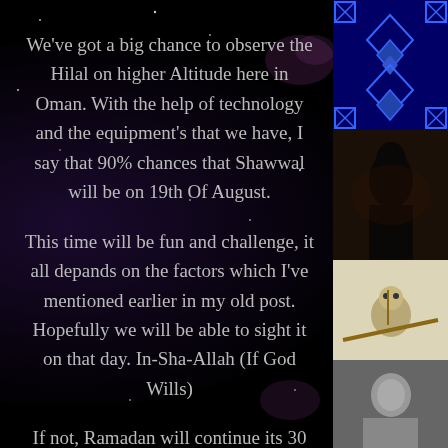We've got a big chance to observe the Hilal on higher Altitude here in Oman. With the help of technology and the equipment's that we have, I say that 90% chances that Shawwal will be on 19th Of August.
This time will be fun and challenge, it all depands on the factors which I've mentioned earlier in my old post. Hopefully we will be able to sight it on that day. In-Sha-Allah (If God Wills)
If not, Ramadan will continue its 30 days.
Please Note: It is very bad to make a
[Figure (photo): Geometric blue and black diamond pattern thumbnail]
[Figure (photo): Dark silhouette photo thumbnail]
[Figure (illustration): Illustrated creature on branch thumbnail]
[Figure (photo): Black and white portrait photo thumbnail]
[Figure (illustration): Anime style character illustration thumbnail]
[Figure (illustration): Blue geometric pattern thumbnail]
[Figure (illustration): Purple geometric star pattern thumbnail]
[Figure (illustration): Green grid pattern thumbnail]
[Figure (illustration): Pink and purple geometric pattern thumbnail]